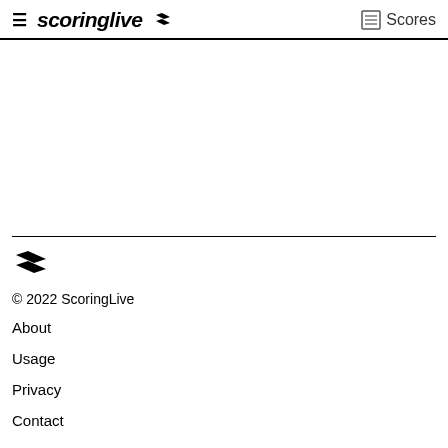scoringlive // Scores
[Figure (logo): ScoringLive footer logo mark]
© 2022 ScoringLive
About
Usage
Privacy
Contact